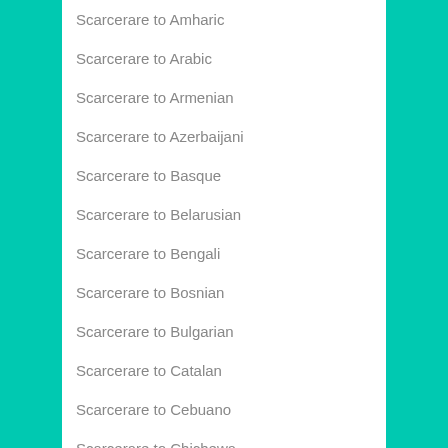Scarcerare to Amharic
Scarcerare to Arabic
Scarcerare to Armenian
Scarcerare to Azerbaijani
Scarcerare to Basque
Scarcerare to Belarusian
Scarcerare to Bengali
Scarcerare to Bosnian
Scarcerare to Bulgarian
Scarcerare to Catalan
Scarcerare to Cebuano
Scarcerare to Chichewa
Scarcerare to Chinese Simplified
Scarcerare to Chinese Traditional